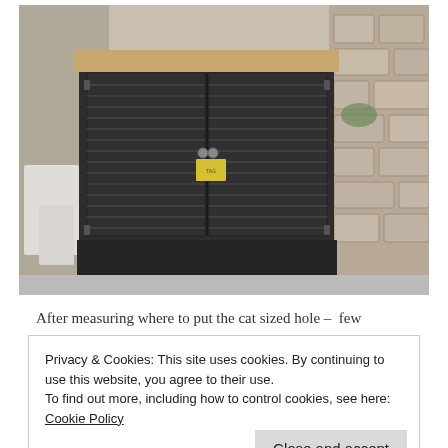[Figure (photo): A dark grey painted wooden cabinet with louvered shutter-style doors and a natural wood top, sitting on a concrete floor next to a stone wall. There is a yellow tag on the cabinet door latch.]
After measuring where to put the cat sized hole –  few
Privacy & Cookies: This site uses cookies. By continuing to use this website, you agree to their use.
To find out more, including how to control cookies, see here: Cookie Policy
the wood would not splinter when we cut it.